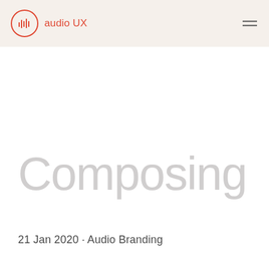audio UX
Composing
21 Jan 2020 · Audio Branding